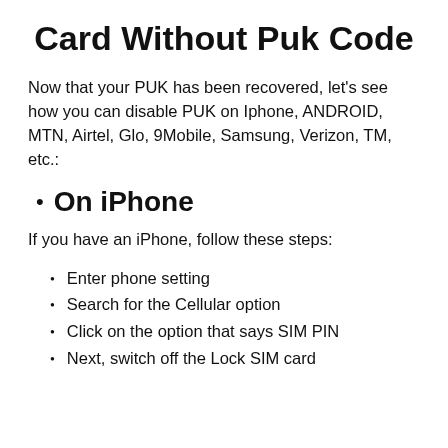Card Without Puk Code
Now that your PUK has been recovered, let's see how you can disable PUK on Iphone, ANDROID, MTN, Airtel, Glo, 9Mobile, Samsung, Verizon, TM, etc.:
On iPhone
If you have an iPhone, follow these steps:
Enter phone setting
Search for the Cellular option
Click on the option that says SIM PIN
Next, switch off the Lock SIM card